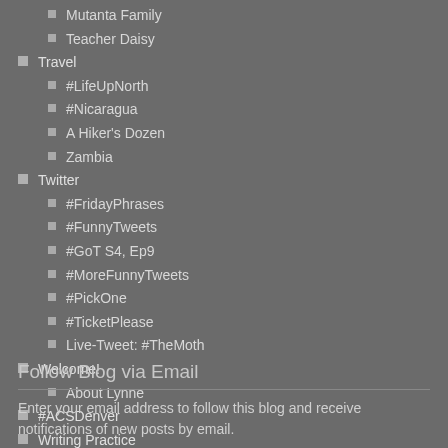Mutanta Family
Teacher Daisy
Travel
#LifeUpNorth
#Nicaragua
A Hiker's Dozen
Zambia
Twitter
#FridayPhrases
#FunnyTweets
#GoT S4, Ep9
#MoreFunnyTweets
#PickOne
#TicketPlease
Live-Tweet: #TheMoth
Welcome!
About Lynne
#ACSDenver
Writing Practice
Follow Blog via Email
Enter your email address to follow this blog and receive notifications of new posts by email.